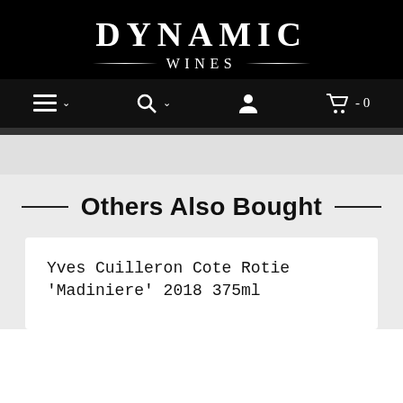DYNAMIC WINES
Others Also Bought
Yves Cuilleron Cote Rotie 'Madiniere' 2018 375ml